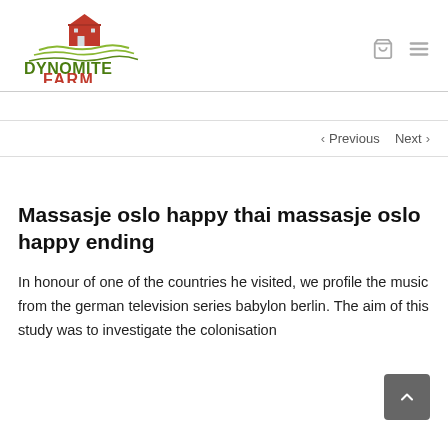[Figure (logo): Dynomite Farm Santa Cruz, CA logo with red barn and green farm fields illustration, green and olive text]
< Previous   Next >
Massasje oslo happy thai massasje oslo happy ending
In honour of one of the countries he visited, we profile the music from the german television series babylon berlin. The aim of this study was to investigate the colonisation